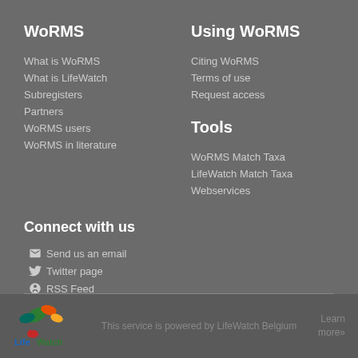WoRMS
What is WoRMS
What is LifeWatch
Subregisters
Partners
WoRMS users
WoRMS in literature
Using WoRMS
Citing WoRMS
Terms of use
Request access
Tools
WoRMS Match Taxa
LifeWatch Match Taxa
Webservices
Connect with us
Send us an email
Twitter page
RSS Feed
This service is powered by LifeWatch Belgium
Learn more»